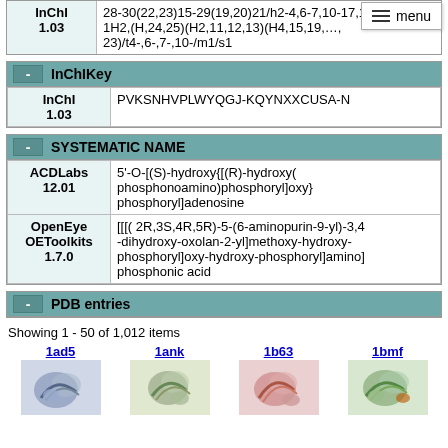| InChI 1.03 | value |
| --- | --- |
| InChI 1.03 | 28-30(22,23)15-29(19,20)21/h2-4,6-7,10-17,18H,
1H2,(H,24,25)(H2,11,12,13)(H4,15,19,...,
23)/t4-,6-,7-,10-/m1/s1 |
| InChIKey |  |
| --- | --- |
| InChI 1.03 | PVKSNHVPLWYQGJ-KQYNXXCUSA-N |
| SYSTEMATIC NAME |  |
| --- | --- |
| ACDLabs 12.01 | 5'-O-[(S)-hydroxy{[(R)-hydroxy(phosphonoamino)phosphoryl]oxy}phosphoryl]adenosine |
| OpenEye OEToolkits 1.7.0 | [[[( 2R,3S,4R,5R)-5-(6-aminopurin-9-yl)-3,4-dihydroxy-oxolan-2-yl]methoxy-hydroxy-phosphoryl]oxy-hydroxy-phosphoryl]amino]phosphonic acid |
PDB entries
Showing 1 - 50 of 1,012 items
[Figure (photo): PDB entry 1ad5 protein structure thumbnail]
[Figure (photo): PDB entry 1ank protein structure thumbnail]
[Figure (photo): PDB entry 1b63 protein structure thumbnail]
[Figure (photo): PDB entry 1bmf protein structure thumbnail]